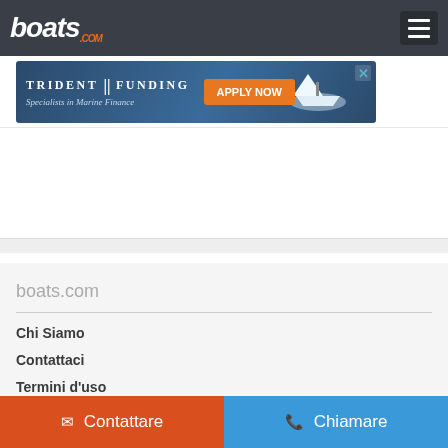boats.com
[Figure (screenshot): Trident Funding advertisement banner - Specialists in Marine Finance with Apply Now button]
boats.com
Chi Siamo
Contattaci
Termini d'uso
Informativa sulla privacy
Contattare
Chiamare